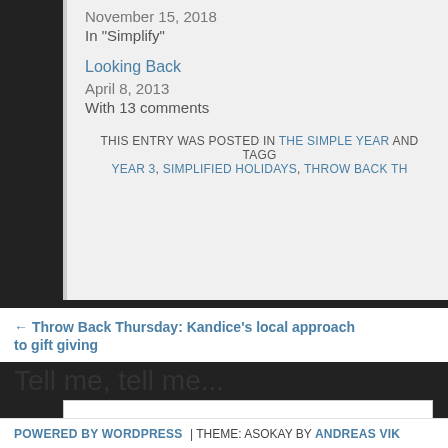November 15, 2018
In "Simplify"
Looking Back
April 8, 2013
With 13 comments
THIS ENTRY WAS POSTED IN THE SIMPLE YEAR AND TAGG... YEAR 3, SIMPLIFIED HOLIDAYS, THROW BACK TH...
← Throw Back Thursday: Kandice's local approach to gift giving
Tell me, tell me...
Enter your comment here...
POWERED BY WORDPRESS | THEME: ASOKAY BY ANDREAS VIK...